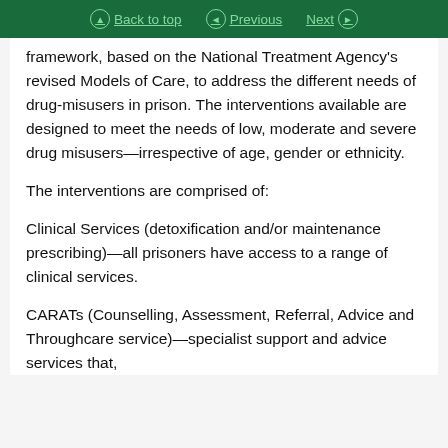Back to top | Previous | Next
framework, based on the National Treatment Agency's revised Models of Care, to address the different needs of drug-misusers in prison. The interventions available are designed to meet the needs of low, moderate and severe drug misusers—irrespective of age, gender or ethnicity.
The interventions are comprised of:
Clinical Services (detoxification and/or maintenance prescribing)—all prisoners have access to a range of clinical services.
CARATs (Counselling, Assessment, Referral, Advice and Throughcare service)—specialist support and advice services that,